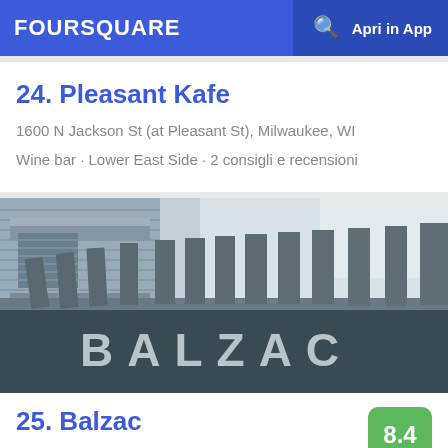FOURSQUARE  Apri in App
24. Pleasant Kafe
1600 N Jackson St (at Pleasant St), Milwaukee, WI
Wine bar · Lower East Side · 2 consigli e recensioni
[Figure (photo): Exterior photo of Balzac wine bar showing wooden pergola/trellis structure with large BALZAC letters underneath, building facade in background with sky]
25. Balzac
8.4
1716 N Arlington Pl (btwn N Pulaski St & E Brady St), Milwaukee, WI
Wine bar · Lower East Side · 66 consigli e